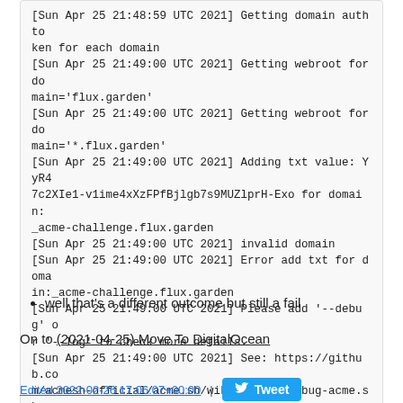[Sun Apr 25 21:48:59 UTC 2021] Getting domain auth token for each domain
[Sun Apr 25 21:49:00 UTC 2021] Getting webroot for domain='flux.garden'
[Sun Apr 25 21:49:00 UTC 2021] Getting webroot for domain='*.flux.garden'
[Sun Apr 25 21:49:00 UTC 2021] Adding txt value: YyR47c2XIe1-v1ime4xXzFPfBjlgb7s9MUZlprH-Exo for domain: _acme-challenge.flux.garden
[Sun Apr 25 21:49:00 UTC 2021] invalid domain
[Sun Apr 25 21:49:00 UTC 2021] Error add txt for domain:_acme-challenge.flux.garden
[Sun Apr 25 21:49:00 UTC 2021] Please add '--debug' or '--log' to check more details.
[Sun Apr 25 21:49:00 UTC 2021] See: https://github.com/acmesh-official/acme.sh/wiki/How-to-debug-acme.sh
well that's a different outcome but still a fail
On to (2021-04-25) Move To DigitalOcean
Edited 2022-02-26 17:06:07+00:00 |  Tweet